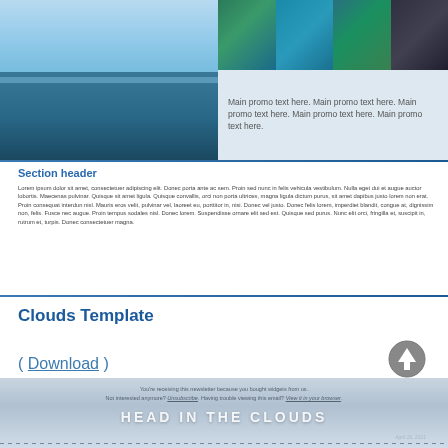[Figure (photo): Newsletter header with large water/lake photo on left and four thumbnail photos on top right (coral reef, turquoise sea, tropical coast, dark interior), plus light blue promo text box on bottom right]
Main promo text here. Main promo text here. Main promo text here. Main promo text here. Main promo text here.
Section header
Lorem ipsum dolor sit amet, consectetuer adipiscing elit. Donec porta ante ac sem. Proin sed nunc in felis vehicula vestibulum. Nulla eget dui et augue auctor lobortis. Maecenas pulvinar. Quisque sit amet ligula. Quisque convallis, orci non porta ultrices, magna ligula dictum purus, sit amet dapibus justo lorem non erat. Proin consequat interdun nisl. Mauris eros velit, pulvinar vel, laoreet eu, porttitor in, nisi. Donec vel justo. Donec felis lorem, imperdiet blandit, congue at, dignissim non, felis. Fusce nec augue. Proin tempus sodales nisl. Donec lorem. Suspendisse ornare elit sed est. Quisque sed purus. Nunc elit orci, fringilla et, suscipit in, rutrum et, turpis. Donec consectetuer magna.
Clouds Template
[Figure (illustration): Grey circle with upward arrow icon (upload/download button)]
( Download )
You're receiving this newsletter because you bought widgets from us. Not interested anymore? Unsubscribe. Having trouble viewing this email? View it in your browser. HEAD IN THE CLOUDS April 19, 2011